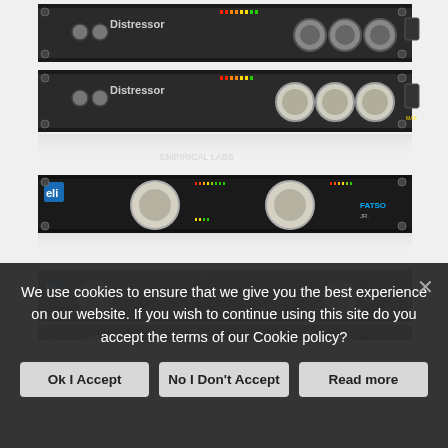[Figure (photo): Two Distressor rack-mount audio compressor units stacked, showing the front panels with knobs, meters, and controls. The units appear in dark grey/black with the brand name 'Distressor' visible on each.]
[Figure (photo): A FATSO Jr rack-mount audio processing unit by Empirical Labs (ELI), showing a wide front panel with multiple large knobs and LED meters in a 1U rack form factor.]
[Figure (photo): Two Empirical Labs (ELI) rack-mount audio processors stacked, both showing textured camouflage-style front panels with multiple knobs and controls. Both units have blue ELI logos.]
We use cookies to ensure that we give you the best experience on our website. If you wish to continue using this site do you accept the terms of our Cookie policy?
Ok I Accept
No I Don't Accept
Read more